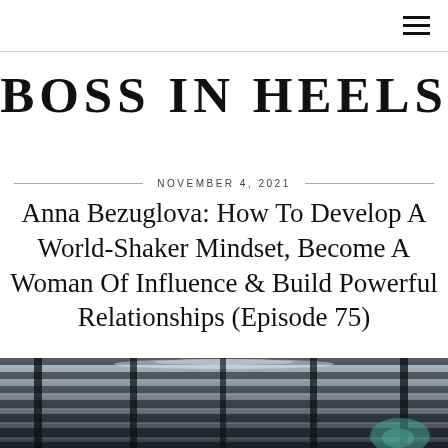≡
BOSS IN HEELS
NOVEMBER 4, 2021
Anna Bezuglova: How To Develop A World-Shaker Mindset, Become A Woman Of Influence & Build Powerful Relationships (Episode 75)
[Figure (photo): Blurred interior photograph showing dark metal louvres/blinds with ceiling light reflections and a teal light source in the background right]